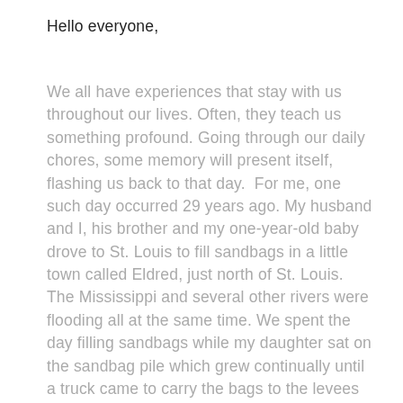Hello everyone,
We all have experiences that stay with us throughout our lives. Often, they teach us something profound. Going through our daily chores, some memory will present itself, flashing us back to that day.  For me, one such day occurred 29 years ago. My husband and I, his brother and my one-year-old baby drove to St. Louis to fill sandbags in a little town called Eldred, just north of St. Louis.  The Mississippi and several other rivers were flooding all at the same time. We spent the day filling sandbags while my daughter sat on the sandbag pile which grew continually until a truck came to carry the bags to the levees (earth walls about 30 feet high)